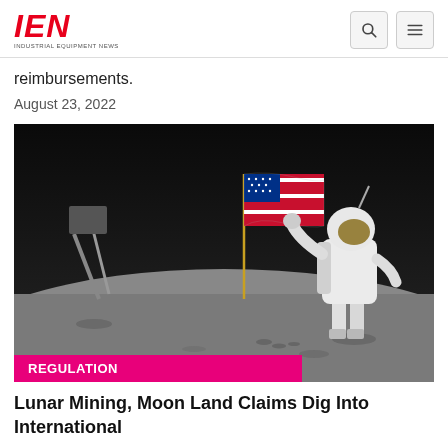IEN INDUSTRIAL EQUIPMENT NEWS
reimbursements.
August 23, 2022
[Figure (photo): Astronaut in white spacesuit standing on the lunar surface next to an American flag planted on the moon, with dark space background.]
REGULATION
Lunar Mining, Moon Land Claims Dig Into International